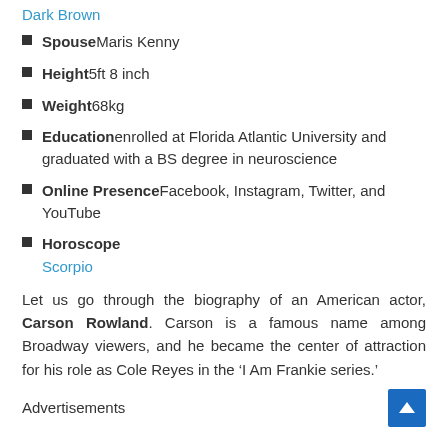Dark Brown
SpouseMaris Kenny
Height5ft 8 inch
Weight68kg
Educationenrolled at Florida Atlantic University and graduated with a BS degree in neuroscience
Online PresenceFacebook, Instagram, Twitter, and YouTube
Horoscope
Scorpio
Let us go through the biography of an American actor, Carson Rowland. Carson is a famous name among Broadway viewers, and he became the center of attraction for his role as Cole Reyes in the ‘I Am Frankie series.’
Advertisements